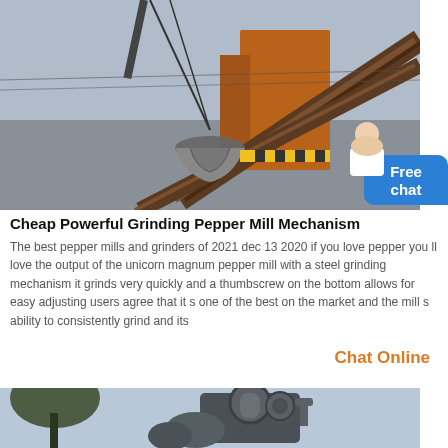[Figure (photo): Industrial scene showing a crane with clamshell bucket/grab attachment hanging from cables, large orange crane structure with conveyor belt in background, overcast sky, construction/mining site]
Cheap Powerful Grinding Pepper Mill Mechanism
The best pepper mills and grinders of 2021 dec 13 2020 if you love pepper you ll love the output of the unicorn magnum pepper mill with a steel grinding mechanism it grinds very quickly and a thumbscrew on the bottom allows for easy adjusting users agree that it s one of the best on the market and the mill s ability to consistently grind and its
Chat Online
[Figure (photo): Industrial equipment photographed outdoors, showing large dark metal mechanical components including what appears to be a valve or pump mechanism, trees visible in background, overcast sky]